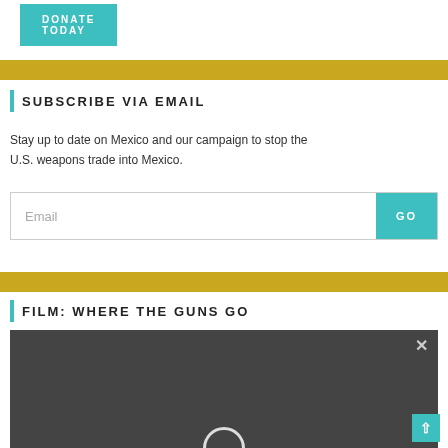DONATE TODAY
SUBSCRIBE VIA EMAIL
Stay up to date on Mexico and our campaign to stop the U.S. weapons trade into Mexico.
[Figure (other): Email subscription form with text input and GO button]
FILM: WHERE THE GUNS GO
[Figure (other): Video thumbnail for 'Where the Guns Go' film with close X button and play button arc]